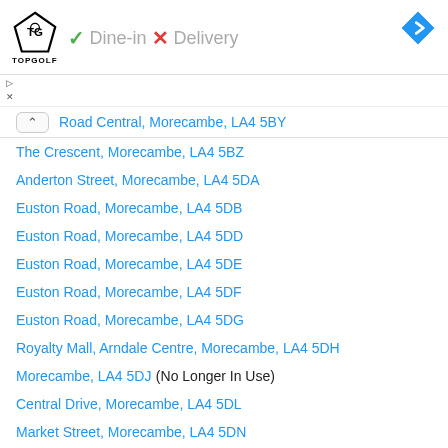Dine-in  Delivery
Road Central, Morecambe, LA4 5BY
The Crescent, Morecambe, LA4 5BZ
Anderton Street, Morecambe, LA4 5DA
Euston Road, Morecambe, LA4 5DB
Euston Road, Morecambe, LA4 5DD
Euston Road, Morecambe, LA4 5DE
Euston Road, Morecambe, LA4 5DF
Euston Road, Morecambe, LA4 5DG
Royalty Mall, Arndale Centre, Morecambe, LA4 5DH
Morecambe, LA4 5DJ (No Longer In Use)
Central Drive, Morecambe, LA4 5DL
Market Street, Morecambe, LA4 5DN